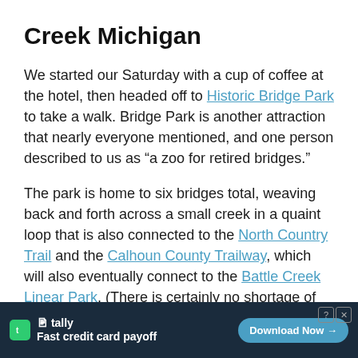Creek Michigan
We started our Saturday with a cup of coffee at the hotel, then headed off to Historic Bridge Park to take a walk. Bridge Park is another attraction that nearly everyone mentioned, and one person described to us as “a zoo for retired bridges.”
The park is home to six bridges total, weaving back and forth across a small creek in a quaint loop that is also connected to the North Country Trail and the Calhoun County Trailway, which will also eventually connect to the Battle Creek Linear Park. (There is certainly no shortage of bea[utiful places in Battle Creek].
[Figure (other): Advertisement banner for Tally app: 'Fast credit card payoff' with Download Now button on dark navy background]